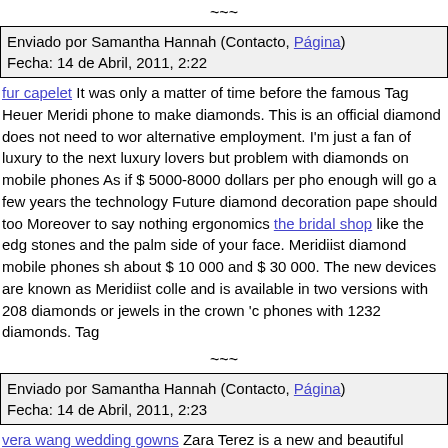~~~
Enviado por Samantha Hannah (Contacto, Página)
Fecha: 14 de Abril, 2011, 2:22
fur capelet It was only a matter of time before the famous Tag Heuer Meridi phone to make diamonds. This is an official diamond does not need to wor alternative employment. I'm just a fan of luxury to the next luxury lovers but problem with diamonds on mobile phones As if $ 5000-8000 dollars per pho enough will go a few years the technology Future diamond decoration pape should too Moreover to say nothing ergonomics the bridal shop like the edg stones and the palm side of your face. Meridiist diamond mobile phones sh about $ 10 000 and $ 30 000. The new devices are known as Meridiist colle and is available in two versions with 208 diamonds or jewels in the crown 'c phones with 1232 diamonds. Tag
~~~
Enviado por Samantha Hannah (Contacto, Página)
Fecha: 14 de Abril, 2011, 2:23
vera wang wedding gowns Zara Terez is a new and beautiful designer bag recently at an event in New York Bagtrends. 14. Case of the city a part of th collection (here) is that you mentioned is the right to wear one of the most e position. We talked to Zara for a new line of handbags and fiesty including t could not resist. Luxist: Tell us about the case. Zara Terez: Well I saw a gur dress satin corset dresses and I thought it would be a really cool idea to do is good to go with and for mothers with small children christian louboutin fla